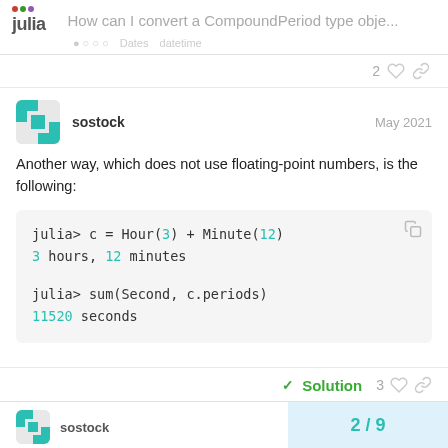How can I convert a CompoundPeriod type obje...
Another way, which does not use floating-point numbers, is the following:
[Figure (screenshot): Code block showing Julia REPL session: 'julia> c = Hour(3) + Minute(12)' with output '3 hours, 12 minutes' and 'julia> sum(Second, c.periods)' with output '11520 seconds']
✓ Solution   3   2 / 9